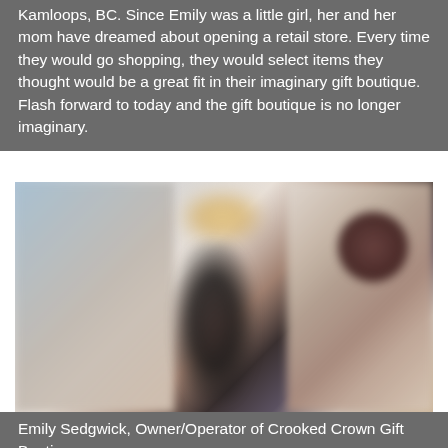Kamloops, BC. Since Emily was a little girl, her and her mom have dreamed about opening a retail store. Every time they would go shopping, they would select items they thought would be a great fit in their imaginary gift boutique. Flash forward to today and the gift boutique is no longer imaginary.
[Figure (photo): A blurred photograph of a person standing inside a gift boutique store, with colorful items visible on the walls and shelves in the background. A dark circular object is visible on the upper right wall.]
Emily Sedgwick, Owner/Operator of Crooked Crown Gift Boutique